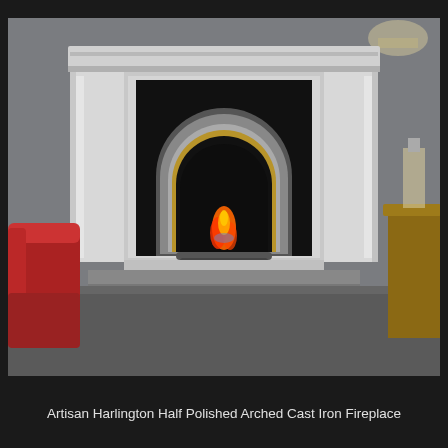[Figure (photo): A half polished arched cast iron fireplace insert set within a white/grey marble mantel surround. The fireplace features a polished cast iron arch with a gold inner ring, an active flame visible in the firebox, and a decorative grate at the bottom. The setting shows a grey-walled room with a red leather armchair to the left and a wooden side table with lamp to the right.]
Artisan Harlington Half Polished Arched Cast Iron Fireplace